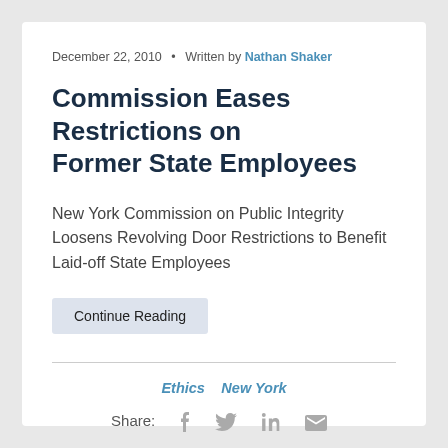December 22, 2010  •  Written by Nathan Shaker
Commission Eases Restrictions on Former State Employees
New York Commission on Public Integrity Loosens Revolving Door Restrictions to Benefit Laid-off State Employees
Continue Reading
Ethics  New York
Share: